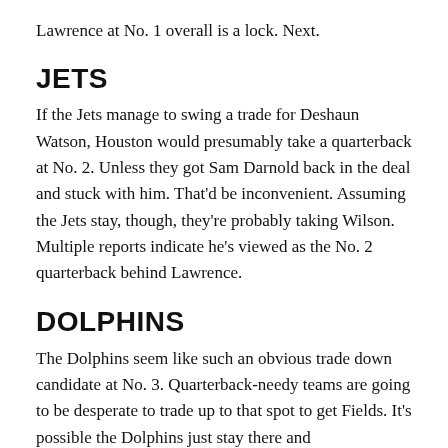Lawrence at No. 1 overall is a lock. Next.
JETS
If the Jets manage to swing a trade for Deshaun Watson, Houston would presumably take a quarterback at No. 2. Unless they got Sam Darnold back in the deal and stuck with him. That'd be inconvenient. Assuming the Jets stay, though, they're probably taking Wilson. Multiple reports indicate he's viewed as the No. 2 quarterback behind Lawrence.
DOLPHINS
The Dolphins seem like such an obvious trade down candidate at No. 3. Quarterback-needy teams are going to be desperate to trade up to that spot to get Fields. It's possible the Dolphins just stay there and